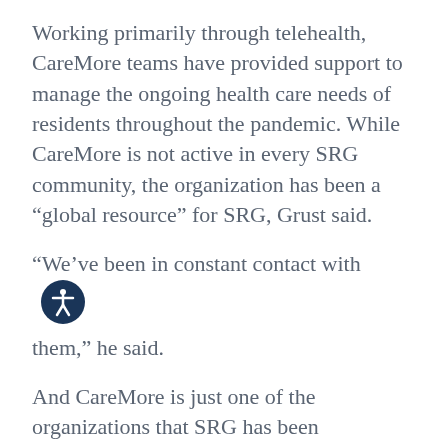Working primarily through telehealth, CareMore teams have provided support to manage the ongoing health care needs of residents throughout the pandemic. While CareMore is not active in every SRG community, the organization has been a “global resource” for SRG, Grust said.
“We’ve been in constant contact with them,” he said.
And CareMore is just one of the organizations that SRG has been collaborating with in developing its Covid-19 response and its no-touch wellness reopening approach; other partners include Johns Hopkins and the University of